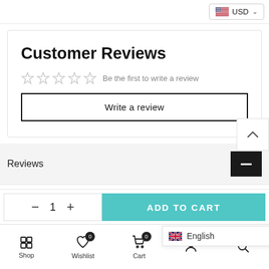USD
Customer Reviews
☆☆☆☆☆ Be the first to write a review
Write a review
Reviews
- 1 +
ADD TO CART
Shop  Wishlist  Cart  English  Search